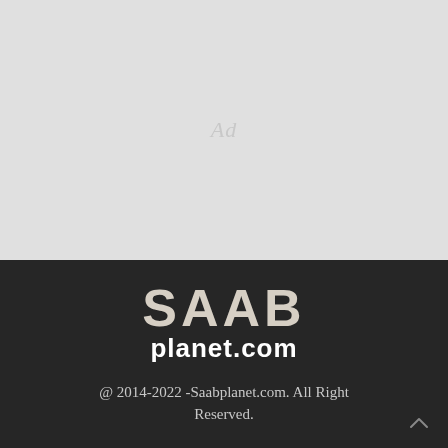[Figure (other): Gray advertisement placeholder box with the word 'Ad' in light gray italic text centered]
[Figure (logo): Saabplanet.com logo: 'SAAB' in large bold beige/cream uppercase letters above 'planet.com' in white bold text, on dark background]
@ 2014-2022 -Saabplanet.com. All Right Reserved.